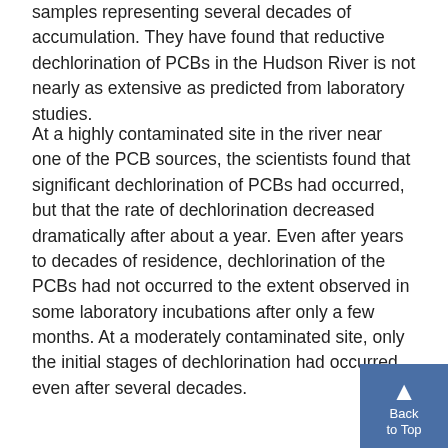samples representing several decades of accumulation. They have found that reductive dechlorination of PCBs in the Hudson River is not nearly as extensive as predicted from laboratory studies.
At a highly contaminated site in the river near one of the PCB sources, the scientists found that significant dechlorination of PCBs had occurred, but that the rate of dechlorination decreased dramatically after about a year. Even after years to decades of residence, dechlorination of the PCBs had not occurred to the extent observed in some laboratory incubations after only a few months. At a moderately contaminated site, only the initial stages of dechlorination had occurred, even after several decades.